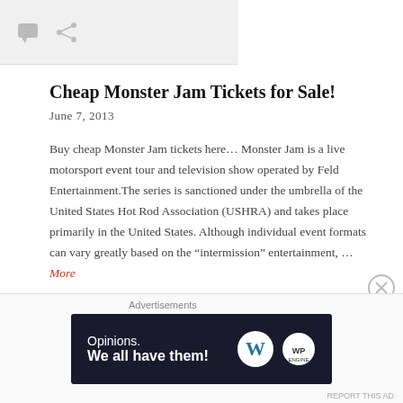[Figure (other): Gray top bar with comment bubble icon and share icon]
Cheap Monster Jam Tickets for Sale!
June 7, 2013
Buy cheap Monster Jam tickets here… Monster Jam is a live motorsport event tour and television show operated by Feld Entertainment.The series is sanctioned under the umbrella of the United States Hot Rod Association (USHRA) and takes place primarily in the United States. Although individual event formats can vary greatly based on the “intermission” entertainment, … More
Advertisements
[Figure (screenshot): Dark navy advertisement banner: Opinions. We all have them! with WordPress and WP Engine logos]